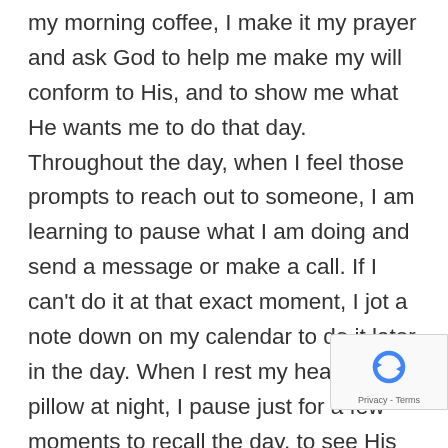my morning coffee, I make it my prayer and ask God to help me make my will conform to His, and to show me what He wants me to do that day. Throughout the day, when I feel those prompts to reach out to someone, I am learning to pause what I am doing and send a message or make a call. If I can't do it at that exact moment, I jot a note down on my calendar to do it later in the day. When I rest my head on my pillow at night, I pause just for a few moments to recall the day, to see His blessings in my life and listen for him in the stillness of my heart. These simple acts take only a minute, yet each pause helps me refocus on His will